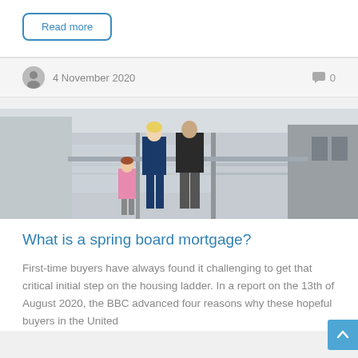Read more
4 November 2020   0
[Figure (photo): A family with a young child standing on a balcony or walkway with glass/metal railings, viewed from behind]
What is a spring board mortgage?
First-time buyers have always found it challenging to get that critical initial step on the housing ladder. In a report on the 13th of August 2020, the BBC advanced four reasons why these hopeful buyers in the United Kingdom find it so difficult.